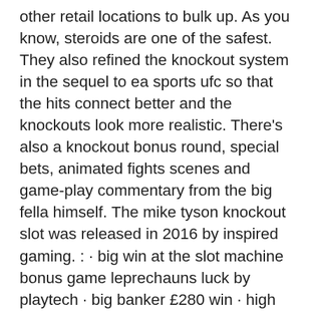other retail locations to bulk up. As you know, steroids are one of the safest. They also refined the knockout system in the sequel to ea sports ufc so that the hits connect better and the knockouts look more realistic. There's also a knockout bonus round, special bets, animated fights scenes and game-play commentary from the big fella himself. The mike tyson knockout slot was released in 2016 by inspired gaming. : · big win at the slot machine bonus game leprechauns luck by playtech · big banker £280 win · high limit 88 fortunes, up to $52. In 1987, nintendo released mike tyson's punch-out!!, which was well received and sold more than a million copies. The mike tyson suite of video slot game have been a fantastic success as one of the best inspired gaming slot machines. Type: video slot · rtp: 94. Developer: inspired gaming · mobile compatible: yes